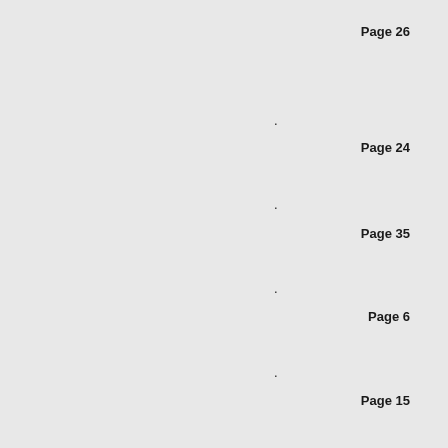Page 26
.
Page 24
.
Page 35
.
Page 6
.
Page 15
.